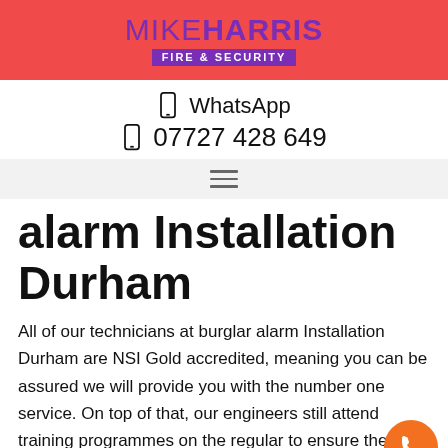MIKE HARRIS FIRE & SECURITY
WhatsApp
07727 428 649
alarm Installation Durham
All of our technicians at burglar alarm Installation Durham are NSI Gold accredited, meaning you can be assured we will provide you with the number one service. On top of that, our engineers still attend training programmes on the regular to ensure their skills and knowledge are up to date.